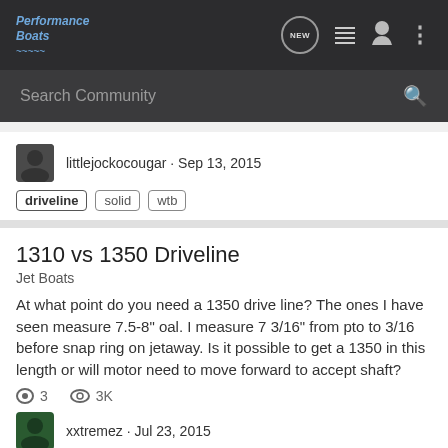Performance Boats
Search Community
littlejockocougar · Sep 13, 2015
driveline  solid  wtb
1310 vs 1350 Driveline
Jet Boats
At what point do you need a 1350 drive line? The ones I have seen measure 7.5-8" oal. I measure 7 3/16" from pto to 3/16 before snap ring on jetaway. Is it possible to get a 1350 in this length or will motor need to move forward to accept shaft?
3  3K
xxtremez · Jul 23, 2015